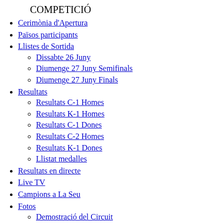COMPETICIÓ
Cerimònia d'Apertura
Països participants
Llistes de Sortida
Dissabte 26 Juny
Diumenge 27 Juny Semifinals
Diumenge 27 Juny Finals
Resultats
Resultats C-1 Homes
Resultats K-1 Homes
Resultats C-1 Dones
Resultats C-2 Homes
Resultats K-1 Dones
Llistat medalles
Resultats en directe
Live TV
Campions a La Seu
Fotos
Demostració del Circuit 25-06-2010
Galeria C1 Homes
Galeria K1 Homes
Galeria C1 Dones
Galeria C2 Homes